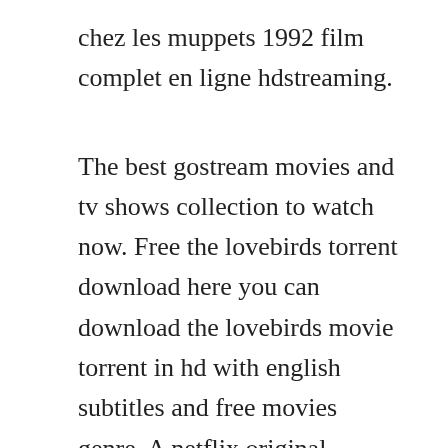chez les muppets 1992 film complet en ligne hdstreaming.
The best gostream movies and tv shows collection to watch now. Free the lovebirds torrent download here you can download the lovebirds movie torrent in hd with english subtitles and free movies genre. A netflix original documentary series about a controversial cult leader who builds a utopian city in the oregon. Big boobs big dick cumshot fetish masturbation shemale teen bondage busty. Films, series, mangas,